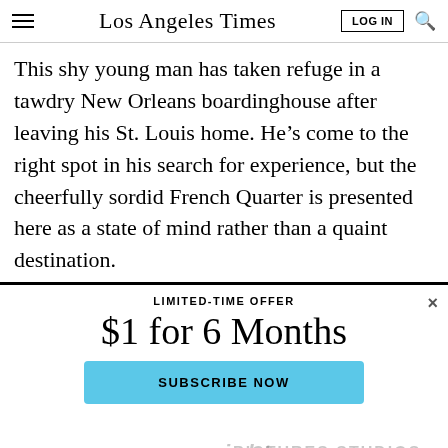Los Angeles Times
This shy young man has taken refuge in a tawdry New Orleans boardinghouse after leaving his St. Louis home. He’s come to the right spot in his search for experience, but the cheerfully sordid French Quarter is presented here as a state of mind rather than a quaint destination.
LIMITED-TIME OFFER
$1 for 6 Months
SUBSCRIBE NOW
By continuing to use our site, you agree to our Terms of Service and Privacy Policy. You can learn more about how we use cookies by reviewing our Privacy Policy. Close